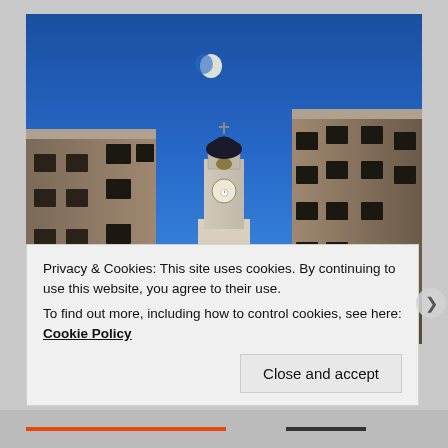[Figure (photo): Dusk photograph of a European city street (likely Dubrovnik, Croatia) with a tall white clock/bell tower in the center, flanked by stone buildings on both sides, deep blue evening sky with a crescent moon visible near the top.]
Privacy & Cookies: This site uses cookies. By continuing to use this website, you agree to their use.
To find out more, including how to control cookies, see here: Cookie Policy
Close and accept